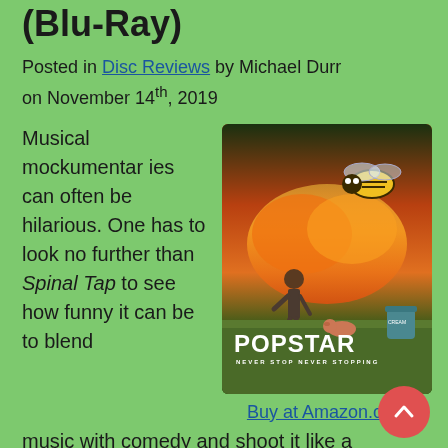(Blu-Ray)
Posted in Disc Reviews by Michael Durr on November 14th, 2019
Musical mockumentaries can often be hilarious. One has to look no further than Spinal Tap to see how funny it can be to blend music with comedy and shoot it like a documentary.  However, it is a delicate
[Figure (photo): Movie cover for Popstar: Never Stop Never Stopping, showing a giant bee above flames with a person below, green table in background]
Buy at Amazon.com